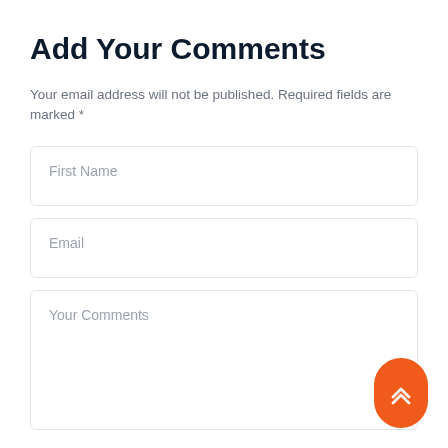Add Your Comments
Your email address will not be published. Required fields are marked *
[Figure (screenshot): Web form with three input fields: First Name, Email, and Your Comments text area]
[Figure (other): Orange scroll-to-top button with double chevron up arrows]